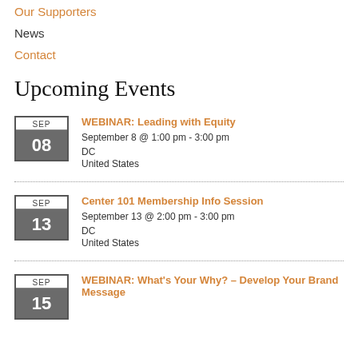Our Supporters
News
Contact
Upcoming Events
WEBINAR: Leading with Equity
September 8 @ 1:00 pm - 3:00 pm
DC
United States
Center 101 Membership Info Session
September 13 @ 2:00 pm - 3:00 pm
DC
United States
WEBINAR: What's Your Why? – Develop Your Brand Message
SEP 15